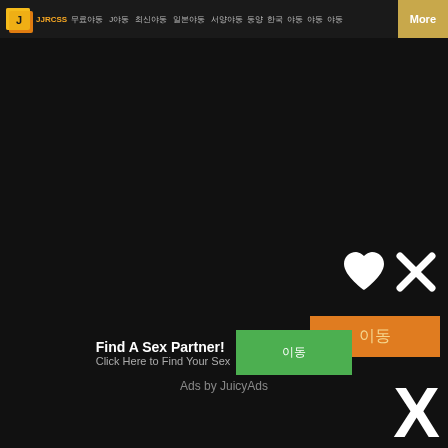JJRCSS 무료야동 J야동 최신야동 일본야동 서양야동 동양 한국 야동 More
[Figure (screenshot): Dark website main content area with heart and X icons, an orange button with Korean text, a large X symbol, and an advertisement banner for JuicyAds]
Find A Sex Partner!
Click Here to Find Your Sex
이동
Ads by JuicyAds